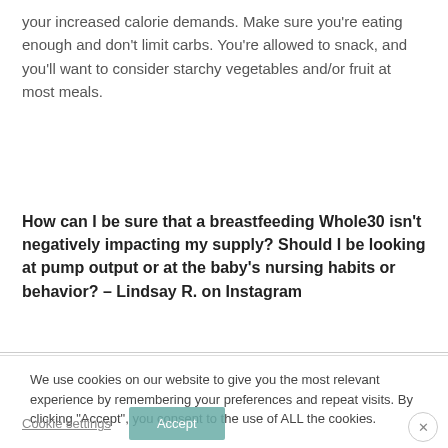your increased calorie demands. Make sure you're eating enough and don't limit carbs. You're allowed to snack, and you'll want to consider starchy vegetables and/or fruit at most meals.
How can I be sure that a breastfeeding Whole30 isn't negatively impacting my supply? Should I be looking at pump output or at the baby's nursing habits or behavior? – Lindsay R. on Instagram
We use cookies on our website to give you the most relevant experience by remembering your preferences and repeat visits. By clicking "Accept", you consent to the use of ALL the cookies.